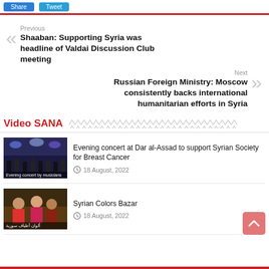Previous
Shaaban: Supporting Syria was headline of Valdai Discussion Club meeting
Next
Russian Foreign Ministry: Moscow consistently backs international humanitarian efforts in Syria
Video SANA
Evening concert at Dar al-Assad to support Syrian Society for Breast Cancer
18 August, 2022
Syrian Colors Bazar
18 August, 2022